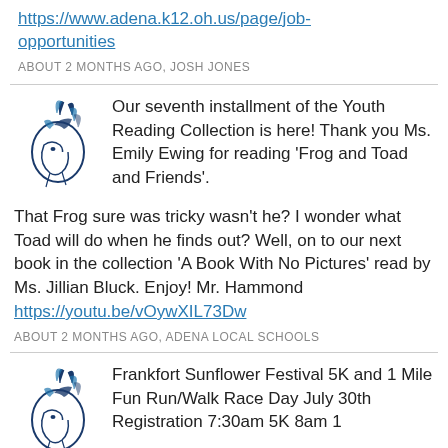https://www.adena.k12.oh.us/page/job-opportunities
ABOUT 2 MONTHS AGO, JOSH JONES
Our seventh installment of the Youth Reading Collection is here! Thank you Ms. Emily Ewing for reading 'Frog and Toad and Friends'. That Frog sure was tricky wasn't he? I wonder what Toad will do when he finds out? Well, on to our next book in the collection 'A Book With No Pictures' read by Ms. Jillian Bluck. Enjoy! Mr. Hammond https://youtu.be/vOywXIL73Dw
ABOUT 2 MONTHS AGO, ADENA LOCAL SCHOOLS
Frankfort Sunflower Festival 5K and 1 Mile Fun Run/Walk Race Day July 30th Registration 7:30am 5K 8am 1